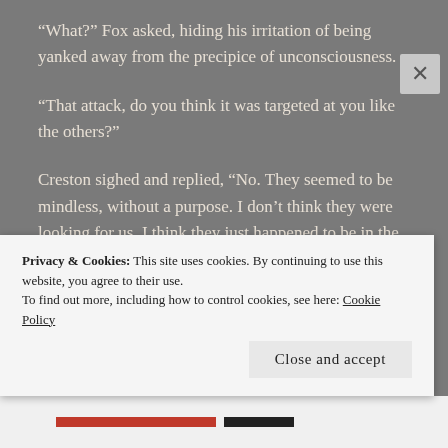“What?” Fox asked, hiding his irritation of being yanked away from the precipice of unconsciousness.
“That attack, do you think it was targeted at you like the others?”
Creston sighed and replied, “No. They seemed to be mindless, without a purpose. I don’t think they were looking for us. I think they just happened to be in the area, still affected by the Skeleton King’s initial
Privacy & Cookies: This site uses cookies. By continuing to use this website, you agree to their use.
To find out more, including how to control cookies, see here: Cookie Policy
Close and accept